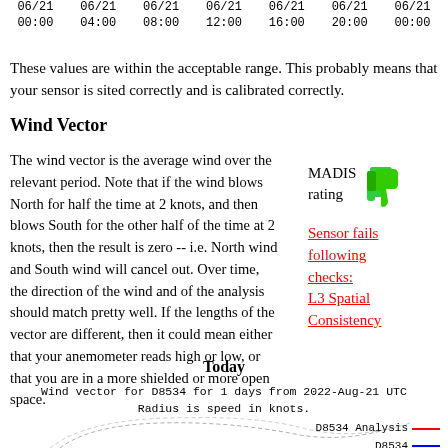06/21 00:00  06/21 04:00  06/21 08:00  06/21 12:00  06/21 16:00  06/21 20:00  06/21 00:00
These values are within the acceptable range. This probably means that your sensor is sited correctly and is calibrated correctly.
Wind Vector
The wind vector is the average wind over the relevant period. Note that if the wind blows North for half the time at 2 knots, and then blows South for the other half of the time at 2 knots, then the result is zero -- i.e. North wind and South wind will cancel out. Over time, the direction of the wind and of the analysis should match pretty well. If the lengths of the vector are different, then it could mean either that your anemometer reads high or low, or that you are in a more shielded or more open space.
[Figure (illustration): MADIS rating with green thumbs-down icon, and red underlined text 'Sensor fails following checks: L3 Spatial Consistency']
Today
Wind vector for D8534 for 1 days from 2022-Aug-21 UTC
Radius is speed in knots.
[Figure (other): Partial wind vector polar chart for D8534, with legend showing D8534 Analysis (red line) and D8534 (blue line)]